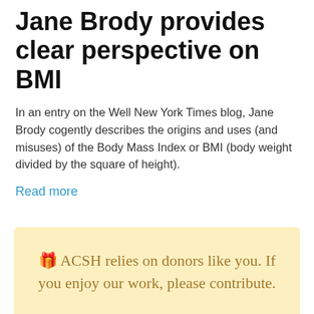Jane Brody provides clear perspective on BMI
In an entry on the Well New York Times blog, Jane Brody cogently describes the origins and uses (and misuses) of the Body Mass Index or BMI (body weight divided by the square of height).
Read more
🎁 ACSH relies on donors like you. If you enjoy our work, please contribute.

Make your tax-deductible gift today!